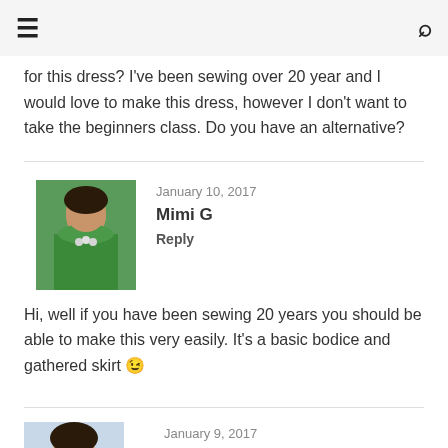≡  🔍
for this dress? I've been sewing over 20 year and I would love to make this dress, however I don't want to take the beginners class. Do you have an alternative?
January 10, 2017
Mimi G
Reply
Hi, well if you have been sewing 20 years you should be able to make this very easily. It's a basic bodice and gathered skirt 😉
January 9, 2017
Anita